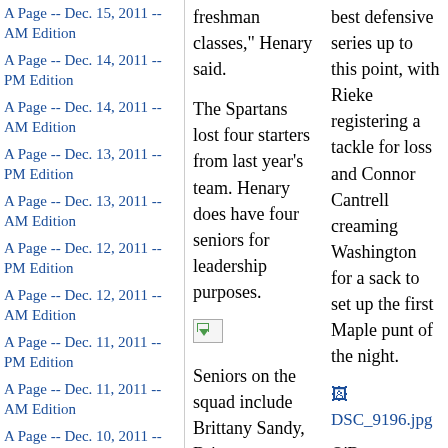A Page -- Dec. 15, 2011 -- AM Edition
A Page -- Dec. 14, 2011 -- PM Edition
A Page -- Dec. 14, 2011 -- AM Edition
A Page -- Dec. 13, 2011 -- PM Edition
A Page -- Dec. 13, 2011 -- AM Edition
A Page -- Dec. 12, 2011 -- PM Edition
A Page -- Dec. 12, 2011 -- AM Edition
A Page -- Dec. 11, 2011 -- PM Edition
A Page -- Dec. 11, 2011 -- AM Edition
A Page -- Dec. 10, 2011 -- PM Edition
A Page -- Dec. 10, 2011 -- AM Edition
A Page -- Dec. 9, 2011 -- PM Edition
A Page -- Dec. 9, 2011 -- AM
freshman classes," Henary said.

The Spartans lost four starters from last year's team. Henary does have four seniors for leadership purposes.

Seniors on the squad include Brittany Sandy, Brittany Williams, Lamia Habbiyyieh and Sophie Tharp.
best defensive series up to this point, with Rieke registering a tackle for loss and Connor Cantrell creaming Washington for a sack to set up the first Maple punt of the night.

O'Brea Williams dittoed Cantrell's defensive gem buy lowering Laird on a third down